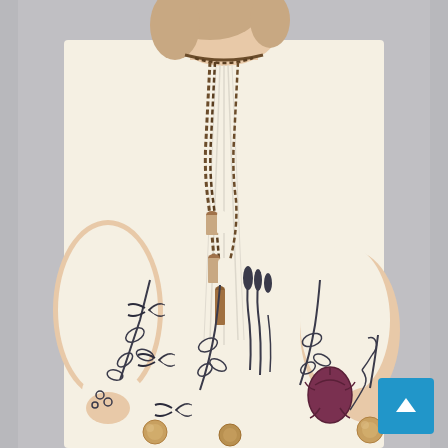[Figure (photo): A woman wearing a cream/off-white boho-style mini dress with puff sleeves (3/4 length), a braided tie neckline with tassels in brown and white, and floral/botanical embroidery along the hem featuring birds, flowers, leaves, and pom-pom accents. She is looking downward. The background is light gray. A blue scroll-to-top button with a white upward arrow is in the bottom-right corner.]